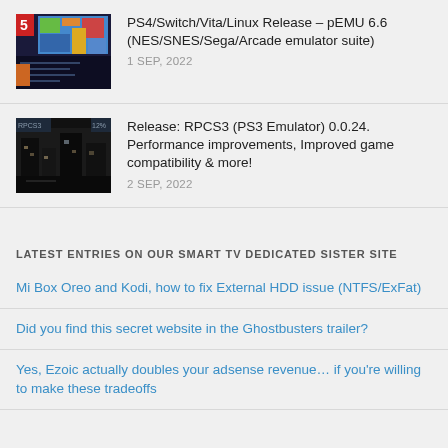[Figure (screenshot): Thumbnail image of a NES/retro emulator game screen with colorful pixel graphics]
PS4/Switch/Vita/Linux Release – pEMU 6.6 (NES/SNES/Sega/Arcade emulator suite)
1 SEP, 2022
[Figure (screenshot): Thumbnail image of RPCS3 PS3 emulator showing a dark game scene with characters]
Release: RPCS3 (PS3 Emulator) 0.0.24. Performance improvements, Improved game compatibility & more!
2 SEP, 2022
LATEST ENTRIES ON OUR SMART TV DEDICATED SISTER SITE
Mi Box Oreo and Kodi, how to fix External HDD issue (NTFS/ExFat)
Did you find this secret website in the Ghostbusters trailer?
Yes, Ezoic actually doubles your adsense revenue… if you're willing to make these tradeoffs